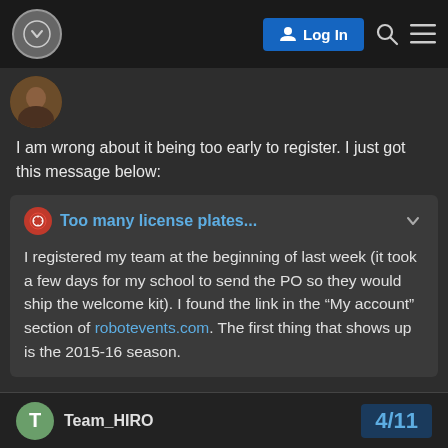Log In
[Figure (screenshot): User avatar thumbnail - person's face]
I am wrong about it being too early to register. I just got this message below:
Too many license plates... I registered my team at the beginning of last week (it took a few days for my school to send the PO so they would ship the welcome kit). I found the link in the "My account" section of robotevents.com. The first thing that shows up is the 2015-16 season.
Sorry about that.
Team_HIRO 4/11